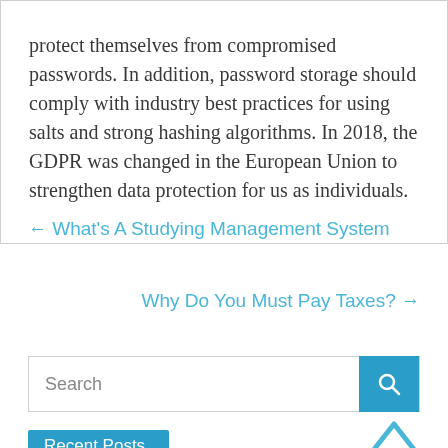protect themselves from compromised passwords. In addition, password storage should comply with industry best practices for using salts and strong hashing algorithms. In 2018, the GDPR was changed in the European Union to strengthen data protection for us as individuals.
← What's A Studying Management System
Why Do You Must Pay Taxes? →